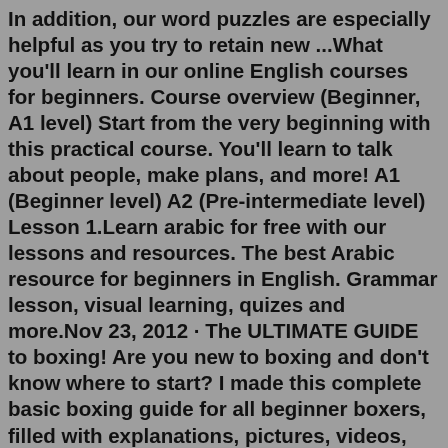In addition, our word puzzles are especially helpful as you try to retain new ...What you'll learn in our online English courses for beginners. Course overview (Beginner, A1 level) Start from the very beginning with this practical course. You'll learn to talk about people, make plans, and more! A1 (Beginner level) A2 (Pre-intermediate level) Lesson 1.Learn arabic for free with our lessons and resources. The best Arabic resource for beginners in English. Grammar lesson, visual learning, quizes and more.Nov 23, 2012 · The ULTIMATE GUIDE to boxing! Are you new to boxing and don't know where to start? I made this complete basic boxing guide for all beginner boxers, filled with explanations, pictures, videos, and links to more detailed guides. Please share it with other aspiring boxers and fighters. Let's Our Beginners English level consists of content and exercises that correspond to the A1-Beginner level of the CEFR. Here is what you will achieve in the Beginner level of the ABA English course. In the 24 units, you will: